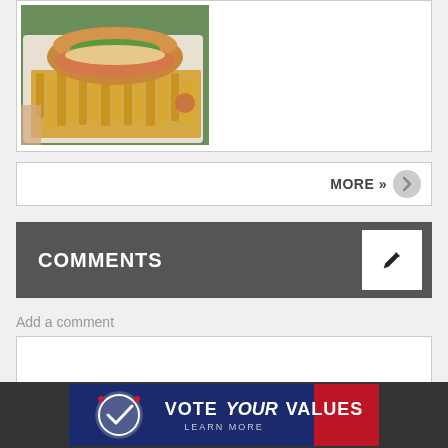[Figure (photo): Photo of a sandwich/lobster roll with fries on a paper plate, held by a hand, taken outdoors]
MORE »
COMMENTS
Add a comment
[Figure (infographic): Vote Your Values - Learn More banner advertisement with navy/red background and circular checkmark logo]